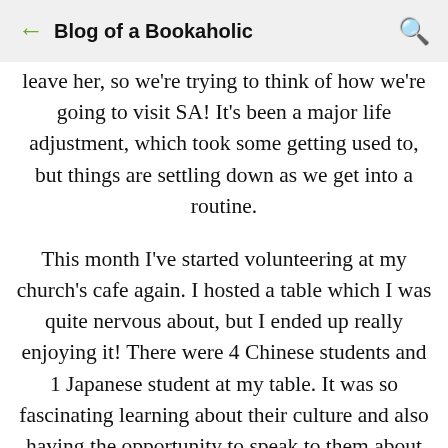Blog of a Bookaholic
leave her, so we're trying to think of how we're going to visit SA! It's been a major life adjustment, which took some getting used to, but things are settling down as we get into a routine.
This month I've started volunteering at my church's cafe again. I hosted a table which I was quite nervous about, but I ended up really enjoying it! There were 4 Chinese students and 1 Japanese student at my table. It was so fascinating learning about their culture and also having the opportunity to speak to them about my relationship with Jesus. I had a great time!